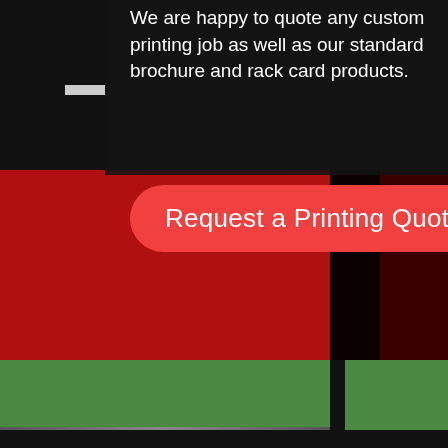We are happy to quote any custom printing job as well as our standard brochure and rack card products.
[Figure (screenshot): A call-to-action button with red rounded rectangle reading 'Request a Printing Quote' in white text, set against a dark/black background panel with red and dark maroon color blocks, and green sections at the bottom.]